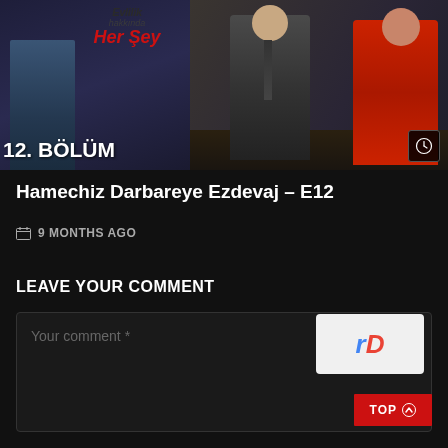[Figure (screenshot): TV show thumbnail split into two panels: left panel shows Turkish show poster with text 'Evlilik hakkında Her Şey' and '12. BÖLÜM' in white text; right panel shows two people seated at a desk, one in grey suit and one in red jacket, with a clock icon in bottom right corner.]
Hamechiz Darbareye Ezdevaj – E12
9 MONTHS AGO
LEAVE YOUR COMMENT
Your comment *